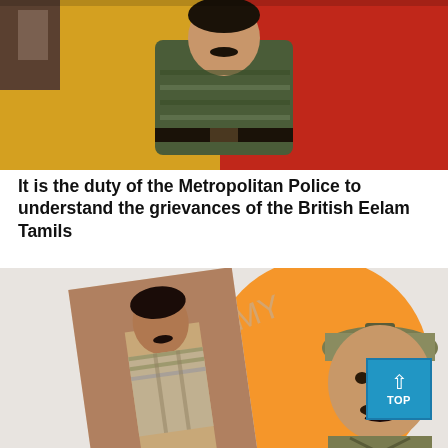[Figure (photo): A man in military/camouflage uniform sitting in front of yellow and red decorative backdrop, appearing to be a commemorative display or portrait.]
It is the duty of the Metropolitan Police to understand the grievances of the British Eelam Tamils
[Figure (illustration): Two overlapping images: a photograph of a young man in casual clothing, and an illustrated/drawn portrait of a man in military uniform with a cap, set against an orange circular background.]